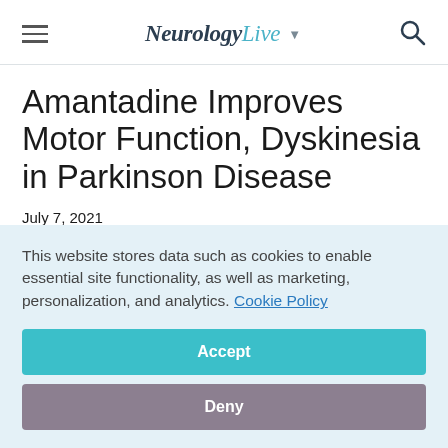NeurologyLive
Amantadine Improves Motor Function, Dyskinesia in Parkinson Disease
July 7, 2021
Abby Reinhard
[Figure (other): Social media sharing icons: Facebook (dark blue), Twitter (light blue), LinkedIn (teal), Pinterest (red), and a gray share icon]
This website stores data such as cookies to enable essential site functionality, as well as marketing, personalization, and analytics. Cookie Policy
Accept
Deny